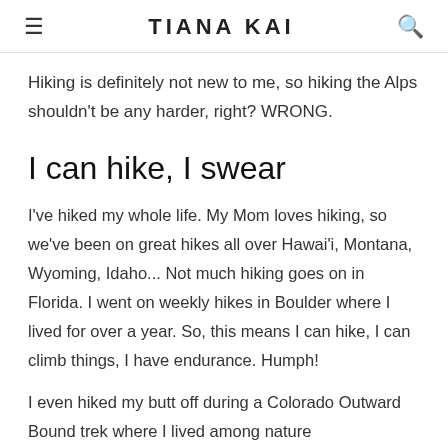TIANA KAI
Hiking is definitely not new to me, so hiking the Alps shouldn't be any harder, right? WRONG.
I can hike, I swear
I've hiked my whole life. My Mom loves hiking, so we've been on great hikes all over Hawai'i, Montana, Wyoming, Idaho... Not much hiking goes on in Florida. I went on weekly hikes in Boulder where I lived for over a year. So, this means I can hike, I can climb things, I have endurance. Humph!
I even hiked my butt off during a Colorado Outward Bound trek where I lived among nature